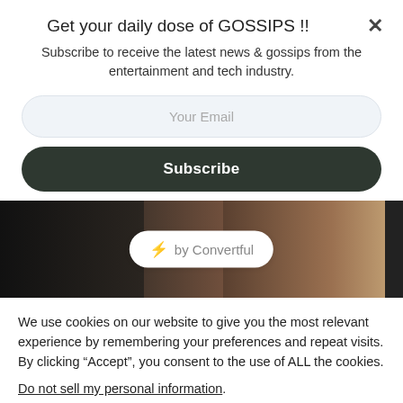Get your daily dose of GOSSIPS !!
Subscribe to receive the latest news & gossips from the entertainment and tech industry.
[Figure (screenshot): Email subscription form with input field placeholder 'Your Email' and a dark Subscribe button]
[Figure (photo): Background image of two people with a 'by Convertful' badge overlay]
We use cookies on our website to give you the most relevant experience by remembering your preferences and repeat visits. By clicking “Accept”, you consent to the use of ALL the cookies.
Do not sell my personal information.
Cookie Settings  Accept